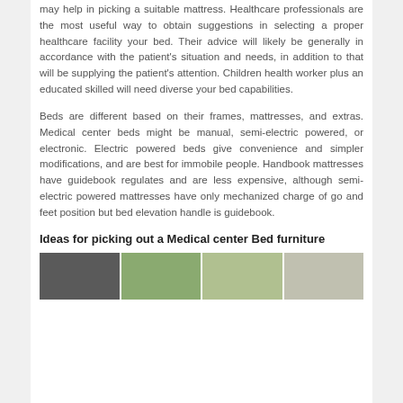may help in picking a suitable mattress. Healthcare professionals are the most useful way to obtain suggestions in selecting a proper healthcare facility your bed. Their advice will likely be generally in accordance with the patient's situation and needs, in addition to that will be supplying the patient's attention. Children health worker plus an educated skilled will need diverse your bed capabilities.
Beds are different based on their frames, mattresses, and extras. Medical center beds might be manual, semi-electric powered, or electronic. Electric powered beds give convenience and simpler modifications, and are best for immobile people. Handbook mattresses have guidebook regulates and are less expensive, although semi-electric powered mattresses have only mechanized charge of go and feet position but bed elevation handle is guidebook.
Ideas for picking out a Medical center Bed furniture
[Figure (photo): A strip of four photos showing hospital/medical bed furniture and room settings]